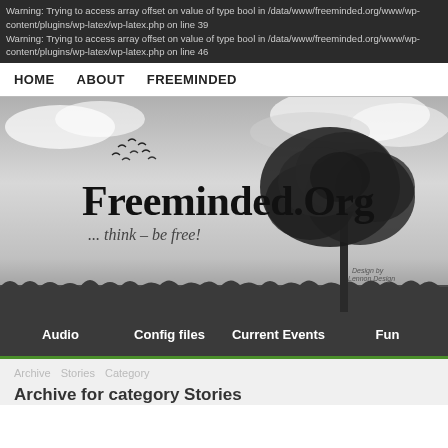Warning: Trying to access array offset on value of type bool in /data/www/freeminded.org/www/wp-content/plugins/wp-latex/wp-latex.php on line 39
Warning: Trying to access array offset on value of type bool in /data/www/freeminded.org/www/wp-content/plugins/wp-latex/wp-latex.php on line 46
HOME   ABOUT   FREEMINDED
[Figure (illustration): Freeminded.Org website hero banner with grayscale illustration of a tree on a grassy field with sky, birds, site title 'Freeminded.Org' and tagline '... think – be free!']
Audio   Config files   Current Events   Fun
Archive for category Stories